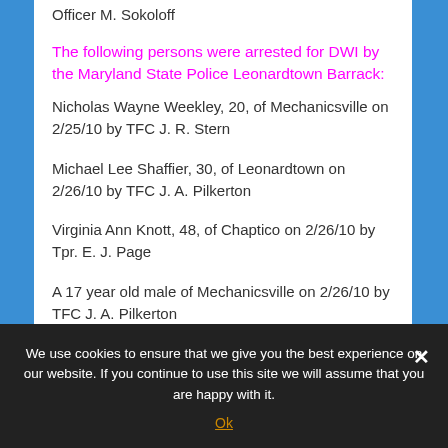Officer M. Sokoloff
The following persons were arrested for DWI by the Maryland State Police Leonardtown Barrack:
Nicholas Wayne Weekley, 20, of Mechanicsville on 2/25/10 by TFC J. R. Stern
Michael Lee Shaffier, 30, of Leonardtown on 2/26/10 by TFC J. A. Pilkerton
Virginia Ann Knott, 48, of Chaptico on 2/26/10 by Tpr. E. J. Page
A 17 year old male of Mechanicsville on 2/26/10 by TFC J. A. Pilkerton
We use cookies to ensure that we give you the best experience on our website. If you continue to use this site we will assume that you are happy with it.
Ok